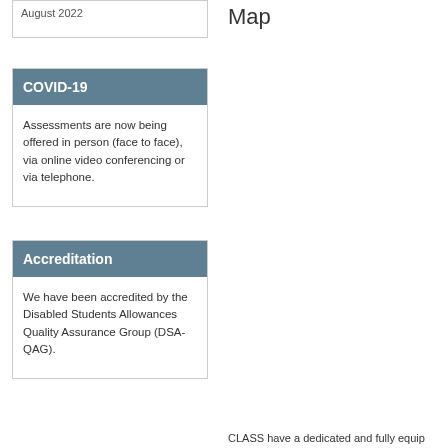August 2022
Map
COVID-19
Assessments are now being offered in person (face to face), via online video conferencing or via telephone.
Accreditation
We have been accredited by the Disabled Students Allowances Quality Assurance Group (DSA-QAG).
CLASS have a dedicated and fully equip